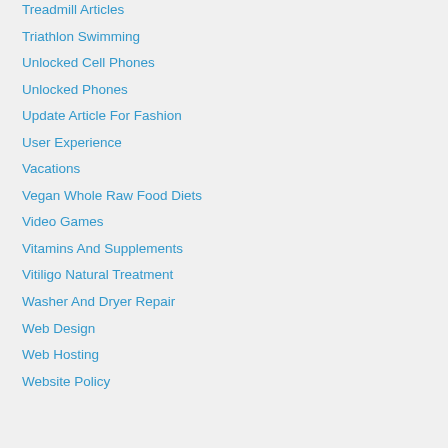Treadmill Articles
Triathlon Swimming
Unlocked Cell Phones
Unlocked Phones
Update Article For Fashion
User Experience
Vacations
Vegan Whole Raw Food Diets
Video Games
Vitamins And Supplements
Vitiligo Natural Treatment
Washer And Dryer Repair
Web Design
Web Hosting
Website Policy